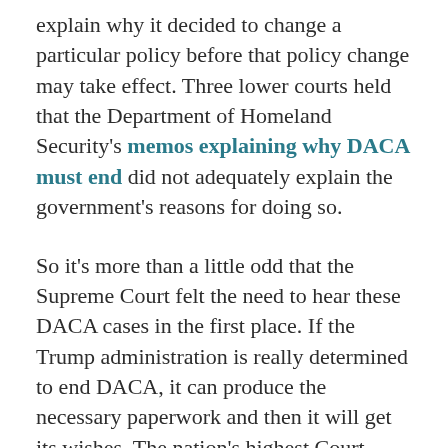explain why it decided to change a particular policy before that policy change may take effect. Three lower courts held that the Department of Homeland Security's memos explaining why DACA must end did not adequately explain the government's reasons for doing so.
So it's more than a little odd that the Supreme Court felt the need to hear these DACA cases in the first place. If the Trump administration is really determined to end DACA, it can produce the necessary paperwork and then it will get its wishes. The nation's highest Court typically does not sit to determine whether a government official committed a paperwork error.
Broadly speaking, the Court is likely to resolve